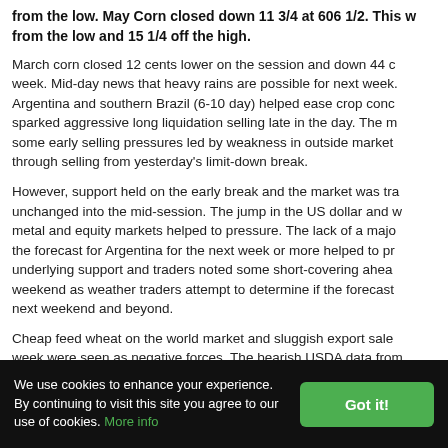from the low. May Corn closed down 11 3/4 at 606 1/2. This was from the low and 15 1/4 off the high.
March corn closed 12 cents lower on the session and down 44 cents on the week. Mid-day news that heavy rains are possible for next week in Argentina and southern Brazil (6-10 day) helped ease crop concerns and sparked aggressive long liquidation selling late in the day. The market saw some early selling pressures led by weakness in outside markets and follow-through selling from yesterday's limit-down break.
However, support held on the early break and the market was trading near unchanged into the mid-session. The jump in the US dollar and weakness in metal and equity markets helped to pressure. The lack of a major change in the forecast for Argentina for the next week or more helped to provide underlying support and traders noted some short-covering ahead of the weekend as weather traders attempt to determine if the forecast will hold into next weekend and beyond.
Cheap feed wheat on the world market and sluggish export sales for the week were seen as negative forces. The bearish USDA data from was also seen as a negative force again today and end of the w...
We use cookies to enhance your experience. By continuing to visit this site you agree to our use of cookies. More info